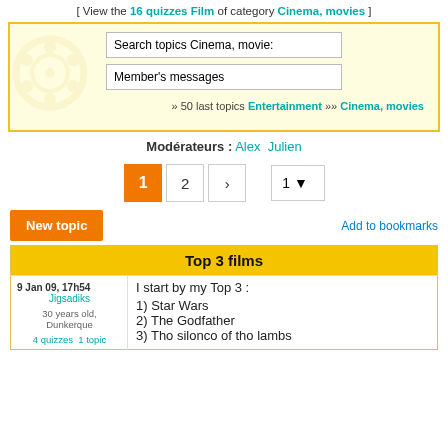[ View the 16 quizzes Film of category Cinema, movies ]
[Figure (screenshot): Search box with 'Search topics Cinema, movies' input and 'Member's messages' input, with a yellow background and a watermark image of a film reel. Below shows '» 50 last topics Entertainment » Cinema, movies']
Modérateurs : Alex  Julien
[Figure (screenshot): Pagination controls showing page buttons: 1 (active/orange), 2, > arrow, and a dropdown showing '1']
New topic
Add to bookmarks
| Meta | Content |
| --- | --- |
| Top 3 films |  |
| 9 Jan 09, 17h54
Jigsadiks
30 years old, Dunkerque
4 quizzes  1 topic | I start by my Top 3 :
1) Star Wars
2) The Godfather
3) The silence of the lambs |